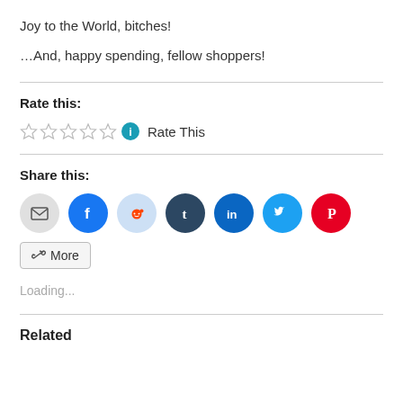Joy to the World, bitches!
…And, happy spending, fellow shoppers!
Rate this:
[Figure (other): Five empty star rating widgets followed by a teal info icon and the text 'Rate This']
Share this:
[Figure (other): Row of social sharing icon buttons: email (grey), Facebook (blue), Reddit (light blue), Tumblr (dark navy), LinkedIn (blue), Twitter (cyan), Pinterest (red), and a More button]
Loading...
Related